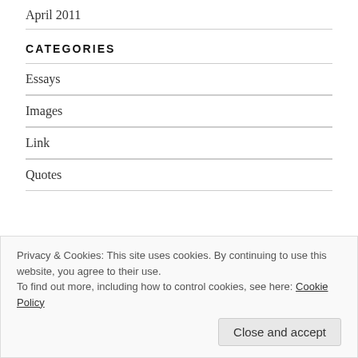April 2011
CATEGORIES
Essays
Images
Link
Quotes
Privacy & Cookies: This site uses cookies. By continuing to use this website, you agree to their use.
To find out more, including how to control cookies, see here: Cookie Policy
Close and accept